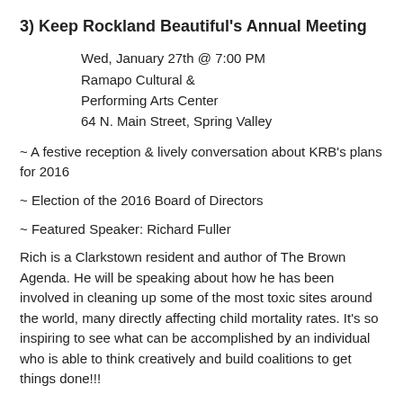3) Keep Rockland Beautiful's Annual Meeting
Wed, January 27th @ 7:00 PM
Ramapo Cultural &
Performing Arts Center
64 N. Main Street, Spring Valley
~ A festive reception & lively conversation about KRB's plans for 2016
~ Election of the 2016 Board of Directors
~ Featured Speaker: Richard Fuller
Rich is a Clarkstown resident and author of The Brown Agenda. He will be speaking about how he has been involved in cleaning up some of the most toxic sites around the world, many directly affecting child mortality rates. It's so inspiring to see what can be accomplished by an individual who is able to think creatively and build coalitions to get things done!!!
KRB is excited to be hosting this event in a wonderful venue in the heart of Ramapo. We are looking forward to building on our relationships with nearby civic